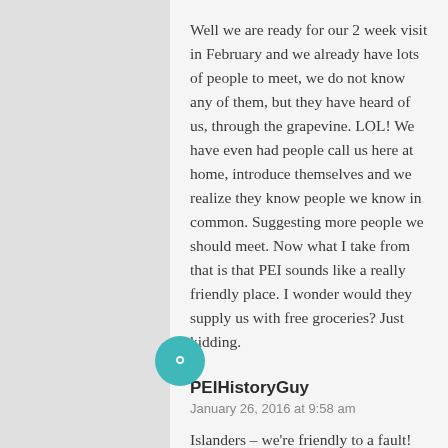Well we are ready for our 2 week visit in February and we already have lots of people to meet, we do not know any of them, but they have heard of us, through the grapevine. LOL! We have even had people call us here at home, introduce themselves and we realize they know people we know in common. Suggesting more people we should meet. Now what I take from that is that PEI sounds like a really friendly place. I wonder would they supply us with free groceries? Just kidding.
Like
PEIHistoryGuy
January 26, 2016 at 9:58 am
Islanders – we're friendly to a fault! And while you may only be kidding about 'free groceries', don't be surprised if people do approach you